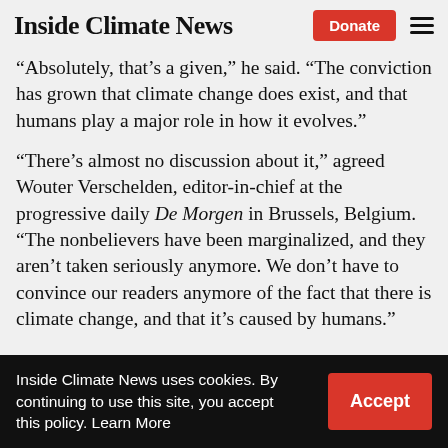Inside Climate News | Donate [button] [menu icon]
“Absolutely, that’s a given,” he said. “The conviction has grown that climate change does exist, and that humans play a major role in how it evolves.”
“There’s almost no discussion about it,” agreed Wouter Verschelden, editor-in-chief at the progressive daily De Morgen in Brussels, Belgium. “The nonbelievers have been marginalized, and they aren’t taken seriously anymore. We don’t have to convince our readers anymore of the fact that there is climate change, and that it’s caused by humans.”
Inside Climate News uses cookies. By continuing to use this site, you accept this policy. Learn More | Accept [button]